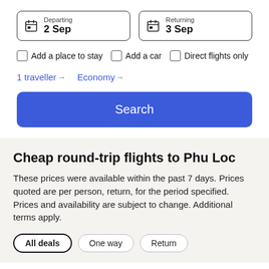[Figure (screenshot): Departing date picker input box showing '2 Sep' with calendar icon]
[Figure (screenshot): Returning date picker input box showing '3 Sep' with calendar icon]
Add a place to stay
Add a car
Direct flights only
1 traveller
Economy
Search
Cheap round-trip flights to Phu Loc
These prices were available within the past 7 days. Prices quoted are per person, return, for the period specified. Prices and availability are subject to change. Additional terms apply.
All deals
One way
Return